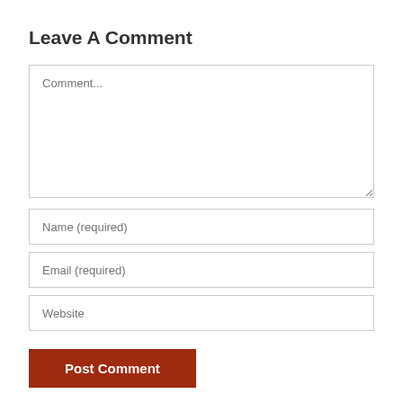Leave A Comment
[Figure (screenshot): Comment form with textarea placeholder 'Comment...', name input, email input, website input, and Post Comment button]
Comment...
Name (required)
Email (required)
Website
Post Comment